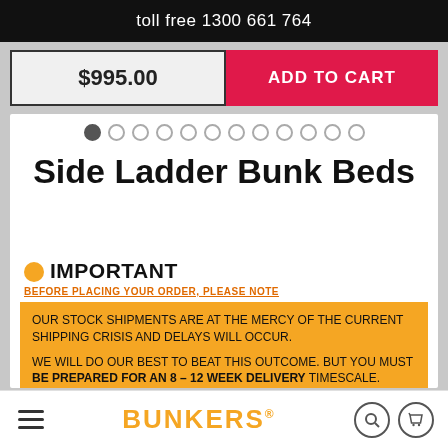toll free 1300 661 764
$995.00
ADD TO CART
Side Ladder Bunk Beds
IMPORTANT
BEFORE PLACING YOUR ORDER, PLEASE NOTE
OUR STOCK SHIPMENTS ARE AT THE MERCY OF THE CURRENT SHIPPING CRISIS AND DELAYS WILL OCCUR.
WE WILL DO OUR BEST TO BEAT THIS OUTCOME. BUT YOU MUST BE PREPARED FOR AN 8 – 12 WEEK DELIVERY TIMESCALE.
SIZE
SINGLE
KING SINGLE
BUNKERS®